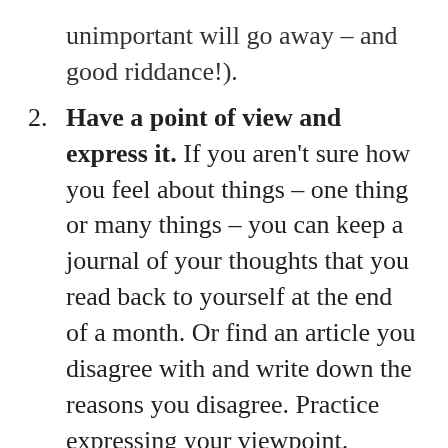unimportant will go away – and good riddance!).
Have a point of view and express it. If you aren't sure how you feel about things – one thing or many things – you can keep a journal of your thoughts that you read back to yourself at the end of a month. Or find an article you disagree with and write down the reasons you disagree. Practice expressing your viewpoint. Sometimes it's easier to do that with someone who doesn't know you...like in store or while waiting in line. Think of it like shopping for a new